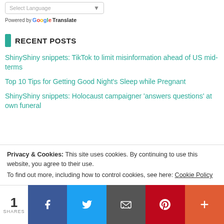Select Language (dropdown)
Powered by Google Translate
RECENT POSTS
ShinyShiny snippets: TikTok to limit misinformation ahead of US mid-terms
Top 10 Tips for Getting Good Night's Sleep while Pregnant
ShinyShiny snippets: Holocaust campaigner 'answers questions' at own funeral
We use cookies on our website to give you the most relevant
Privacy & Cookies: This site uses cookies. By continuing to use this website, you agree to their use.
To find out more, including how to control cookies, see here: Cookie Policy
1 SHARES — Facebook, Twitter, Email, Pinterest, More